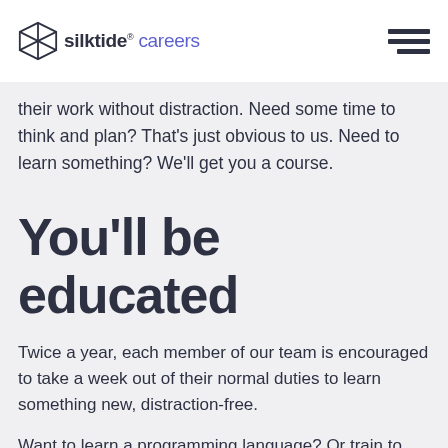silktide® careers
their work without distraction. Need some time to think and plan? That's just obvious to us. Need to learn something? We'll get you a course.
You'll be educated
Twice a year, each member of our team is encouraged to take a week out of their normal duties to learn something new, distraction-free.
Want to learn a programming language? Or train to